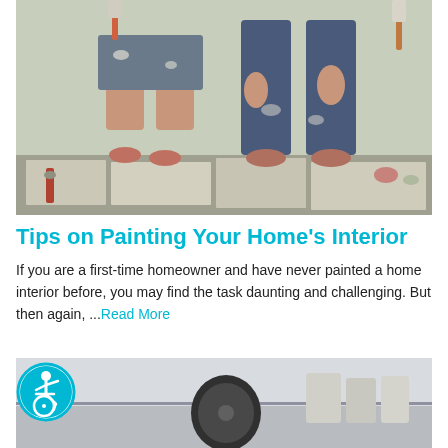[Figure (photo): Two people from waist down standing on newspaper-covered floor holding paintbrushes, wearing paint-splattered jeans and shorts, painting home interior]
Tips on Painting Your Home's Interior
If you are a first-time homeowner and have never painted a home interior before, you may find the task daunting and challenging. But then again, ...Read More
[Figure (photo): Partial view of a kitchen or bathroom interior with what appears to be a paint roller and canisters on a surface]